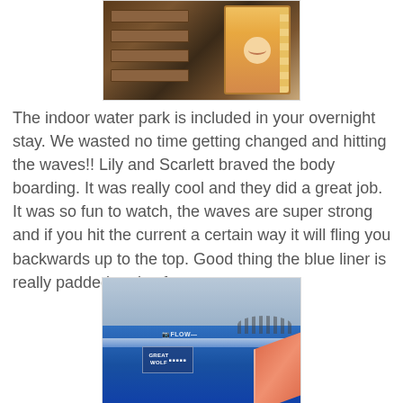[Figure (photo): Photo of wooden bunk bed shelves in a dimly lit room with a child smiling through what appears to be a window or opening on the right side with a wavy decorative border]
The indoor water park is included in your overnight stay. We wasted no time getting changed and hitting the waves!! Lily and Scarlett braved the body boarding. It was really cool and they did a great job. It was so fun to watch, the waves are super strong and if you hit the current a certain way it will fling you backwards up to the top. Good thing the blue liner is really padded and soft.
[Figure (photo): Photo of an indoor wave pool / body boarding attraction at Great Wolf Lodge with blue water, foam waves, a FlowRider logo visible, and people in the background watching. A Great Wolf Lodge sign is visible on the blue pool wall.]